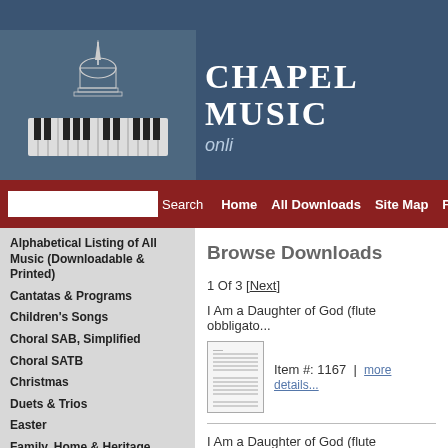[Figure (logo): Chapel Music Online logo with keyboard and building illustration]
CHAPEL MUSIC online
Search | Home | All Downloads | Site Map | Fa...
Alphabetical Listing of All Music (Downloadable & Printed)
Cantatas & Programs
Children's Songs
Choral SAB, Simplified
Choral SATB
Christmas
Duets & Trios
Easter
Family, Home & Heritage
Hymn Arrangements for Choir
Instrumental Obbligatos
Narrations
Patriotic
Browse Downloads
1 Of 3 [Next]
I Am a Daughter of God (flute obbligato...
Item #: 1167  |  more details...
I Am a Daughter of God (flute obbligato...